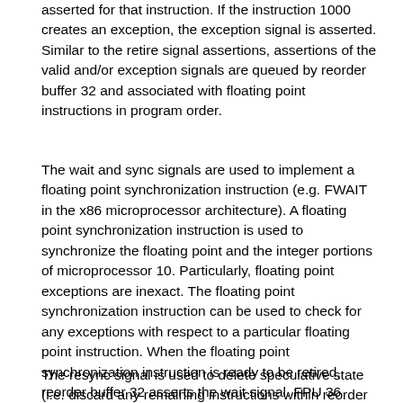asserted for that instruction. If the instruction 1000 creates an exception, the exception signal is asserted. Similar to the retire signal assertions, assertions of the valid and/or exception signals are queued by reorder buffer 32 and associated with floating point instructions in program order.
The wait and sync signals are used to implement a floating point synchronization instruction (e.g. FWAIT in the x86 microprocessor architecture). A floating point synchronization instruction is used to synchronize the floating point and the integer portions of microprocessor 10. Particularly, floating point exceptions are inexact. The floating point synchronization instruction can be used to check for any exceptions with respect to a particular floating point instruction. When the floating point synchronization instruction is ready to be retired, reorder buffer 32 asserts the wait signal. FPU 36 asserts the sync signal when FPU 36 is synchronized. Upon assertion of both signals, the floating point synchronization instruction is complete.
The resync signal is used to delete speculative state (i.e. discard any remaining instructions within reorder buffer